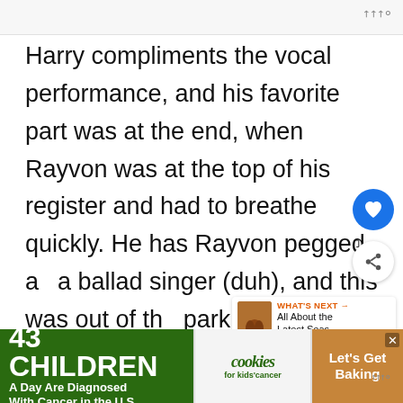Harry compliments the vocal performance, and his favorite part was at the end, when Rayvon was at the top of his register and had to breathe quickly. He has Rayvon pegged as a ballad singer (duh), and this was out of the park. Keith calls it a perfect song choice and predicts a longer stay than we all imagined, while J-Lo echoes the sentiment by calling him a
[Figure (other): Blue heart/like button floating UI element]
[Figure (other): Share button with count '1' floating UI element]
[Figure (other): What's Next panel showing 'All About the Latest Seas...']
[Figure (other): Advertisement banner: '43 CHILDREN A Day Are Diagnosed With Cancer in the U.S.' / cookies for kids cancer / Let's Get Baking]